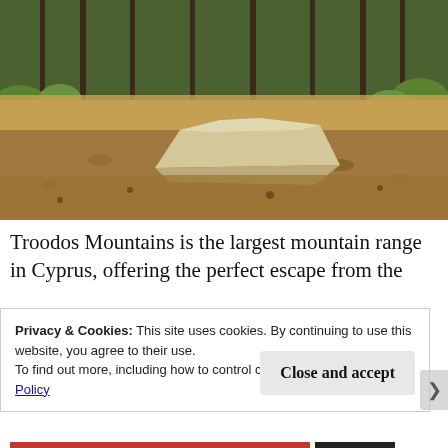[Figure (photo): Outdoor mountain landscape photo showing a large pale rock on dry grassy ground with tall pine trees and green shrubs in the background — Troodos Mountains, Cyprus.]
Troodos Mountains is the largest mountain range in Cyprus, offering the perfect escape from the
Privacy & Cookies: This site uses cookies. By continuing to use this website, you agree to their use.
To find out more, including how to control cookies, see here: Cookie Policy